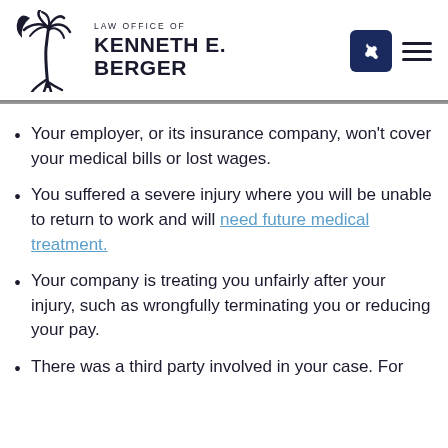LAW OFFICE OF KENNETH E. BERGER
Your employer, or its insurance company, won't cover your medical bills or lost wages.
You suffered a severe injury where you will be unable to return to work and will need future medical treatment.
Your company is treating you unfairly after your injury, such as wrongfully terminating you or reducing your pay.
There was a third party involved in your case. For